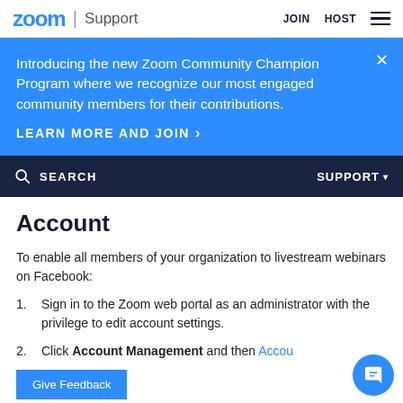zoom | Support   JOIN  HOST
Introducing the new Zoom Community Champion Program where we recognize our most engaged community members for their contributions.
LEARN MORE AND JOIN >
SEARCH   SUPPORT
Account
To enable all members of your organization to livestream webinars on Facebook:
1. Sign in to the Zoom web portal as an administrator with the privilege to edit account settings.
2. Click Account Management and then Accou...